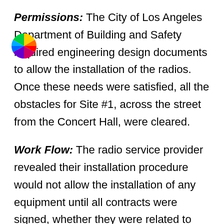Permissions: The City of Los Angeles Department of Building and Safety required engineering design documents to allow the installation of the radios. Once these needs were satisfied, all the obstacles for Site #1, across the street from the Concert Hall, were cleared.
Work Flow: The radio service provider revealed their installation procedure would not allow the installation of any equipment until all contracts were signed, whether they were related to that particular radio link path or not.